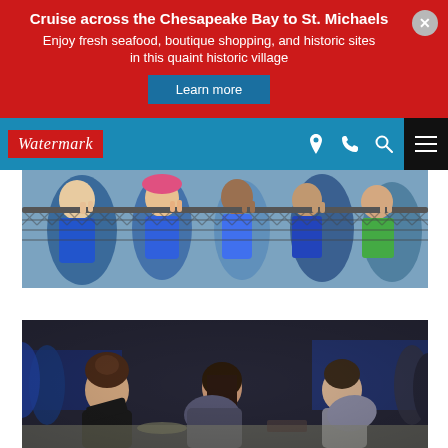Cruise across the Chesapeake Bay to St. Michaels
Enjoy fresh seafood, boutique shopping, and historic sites in this quaint historic village
Learn more
[Figure (screenshot): Watermark logo and navigation bar with location, phone, search icons and hamburger menu]
[Figure (photo): Group of people in blue shirts looking over a chain-link fence]
[Figure (photo): Group of people leaning over a table together, appearing to collaborate]